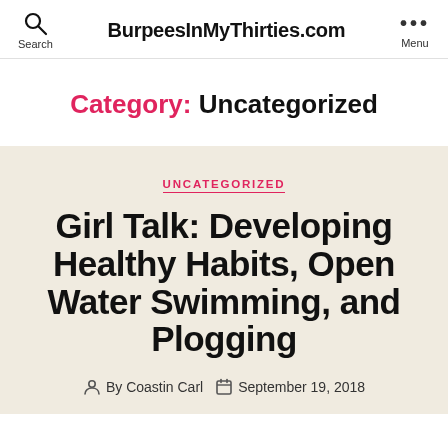BurpeesInMyThirties.com
Category: Uncategorized
UNCATEGORIZED
Girl Talk: Developing Healthy Habits, Open Water Swimming, and Plogging
By Coastin Carl   September 19, 2018